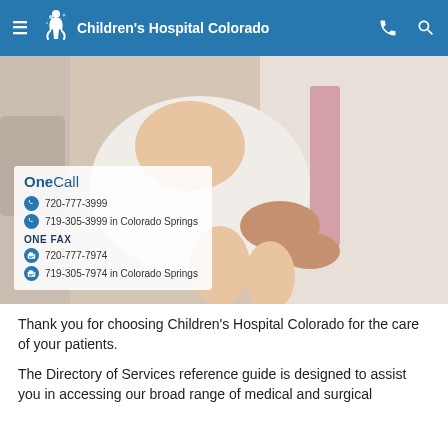Children's Hospital Colorado
[Figure (photo): A doctor in a white coat and pink tie holding a newborn baby dressed in white. Overlaid text box shows OneCall contact information: 720-777-3999, 719-305-3999 in Colorado Springs; ONE FAX: 720-777-7974, 719-305-7974 in Colorado Springs.]
Thank you for choosing Children's Hospital Colorado for the care of your patients.
The Directory of Services reference guide is designed to assist you in accessing our broad range of medical and surgical